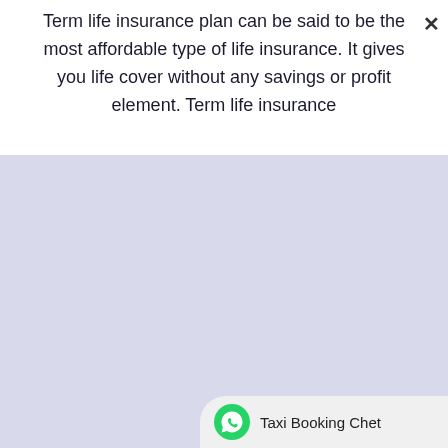Term life insurance plan can be said to be the most affordable type of life insurance. It gives you life cover without any savings or profit element. Term life insurance
[Figure (screenshot): A large lavender/light blue-purple panel occupying the lower portion of the page, appearing to be a partially loaded or blank content area of a web or app interface.]
Taxi Booking Chet